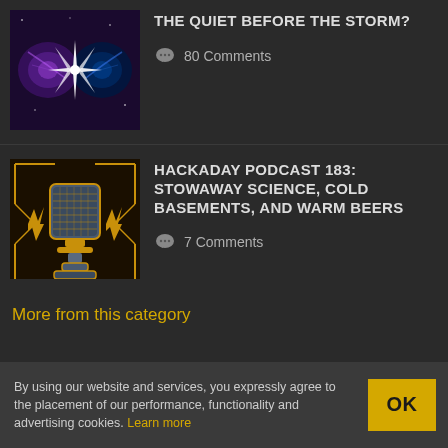[Figure (illustration): Cosmic/space themed thumbnail with two dark vortices and bright starburst in center]
THE QUIET BEFORE THE STORM?
80 Comments
[Figure (illustration): Hackaday podcast logo with retro microphone graphic in gold and dark style]
HACKADAY PODCAST 183: STOWAWAY SCIENCE, COLD BASEMENTS, AND WARM BEERS
7 Comments
More from this category
By using our website and services, you expressly agree to the placement of our performance, functionality and advertising cookies. Learn more